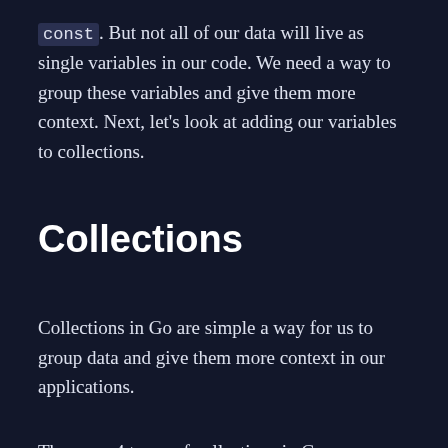const. But not all of our data will live as single variables in our code. We need a way to group these variables and give them more context. Next, let's look at adding our variables to collections.
Collections
Collections in Go are simple a way for us to group data and give them more context in our applications.
There are 4 types of collections in Go;